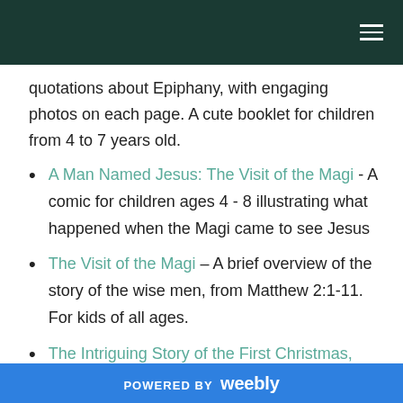quotations about Epiphany, with engaging photos on each page. A cute booklet for children from 4 to 7 years old.
A Man Named Jesus: The Visit of the Magi - A comic for children ages 4 - 8 illustrating what happened when the Magi came to see Jesus
The Visit of the Magi – A brief overview of the story of the wise men, from Matthew 2:1-11. For kids of all ages.
The Intriguing Story of the First Christmas, part 3 - An in-depth look at the story of the visitation of the Magi. For children ages...
POWERED BY weebly